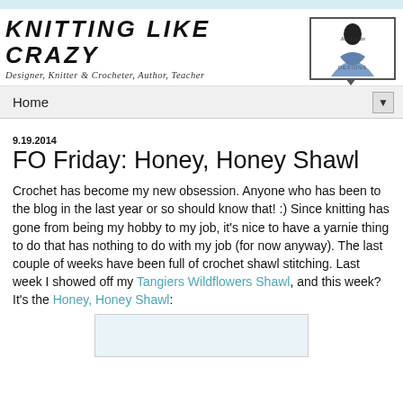KNITTING LIKE CRAZY
Designer, Knitter & Crocheter, Author, Teacher
[Figure (logo): Joy Lucas Designs logo with a person wearing a blue shawl]
Home ▼
9.19.2014
FO Friday: Honey, Honey Shawl
Crochet has become my new obsession. Anyone who has been to the blog in the last year or so should know that! :) Since knitting has gone from being my hobby to my job, it's nice to have a yarnie thing to do that has nothing to do with my job (for now anyway). The last couple of weeks have been full of crochet shawl stitching. Last week I showed off my Tangiers Wildflowers Shawl, and this week? It's the Honey, Honey Shawl:
[Figure (photo): Photo of the Honey Honey Shawl (partially visible at bottom of page)]